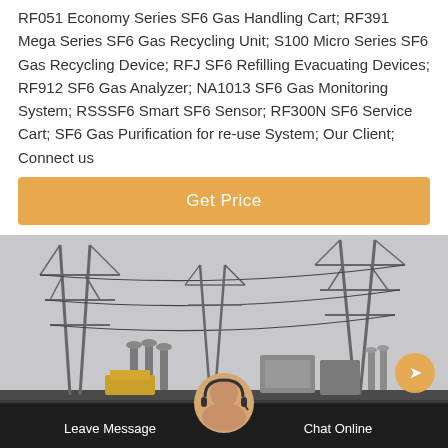RF051 Economy Series SF6 Gas Handling Cart; RF391 Mega Series SF6 Gas Recycling Unit; S100 Micro Series SF6 Gas Recycling Device; RFJ SF6 Refilling Evacuating Devices; RF912 SF6 Gas Analyzer; NA1013 SF6 Gas Monitoring System; RSSSF6 Smart SF6 Sensor; RF300N SF6 Service Cart; SF6 Gas Purification for re-use System; Our Client; Connect us
[Figure (other): Orange button labeled 'Get Price']
[Figure (photo): Electrical substation with high-voltage transmission towers and power lines against an overcast sky. A customer service representative avatar and chat interface overlay at the bottom.]